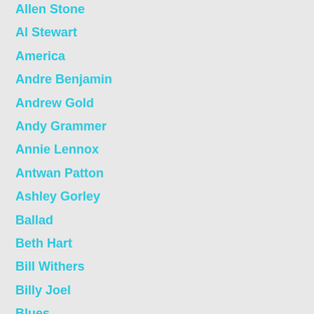Allen Stone
Al Stewart
America
Andre Benjamin
Andrew Gold
Andy Grammer
Annie Lennox
Antwan Patton
Ashley Gorley
Ballad
Beth Hart
Bill Withers
Billy Joel
Blues
Bob Dylan
Bob Marley
Bon Jovi
Boyz Ii Men
Broadway
Brown Eyed...